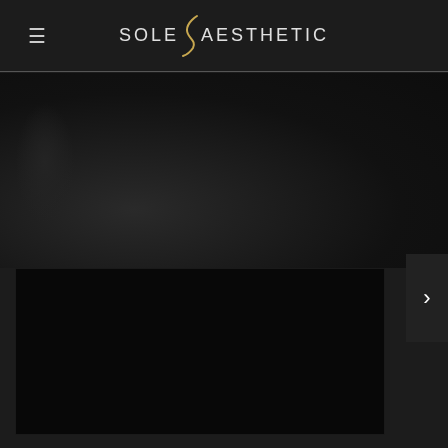≡  SOLE S AESTHETIC
[Figure (photo): Dark background upper area with partial silhouette of person, nearly black]
[Figure (photo): Runner or athlete in mid-air against dark black background, wearing dark clothing and athletic shoes]
[Figure (illustration): Right-side navigation arrow button (chevron >) on dark grey panel]